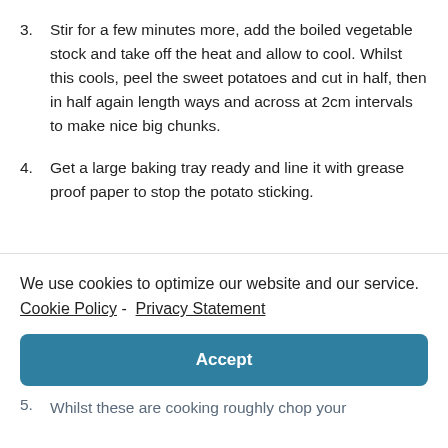3. Stir for a few minutes more, add the boiled vegetable stock and take off the heat and allow to cool. Whilst this cools, peel the sweet potatoes and cut in half, then in half again length ways and across at 2cm intervals to make nice big chunks.
4. Get a large baking tray ready and line it with grease proof paper to stop the potato sticking.
We use cookies to optimize our website and our service. Cookie Policy - Privacy Statement
Accept
5. Whilst these are cooking roughly chop your